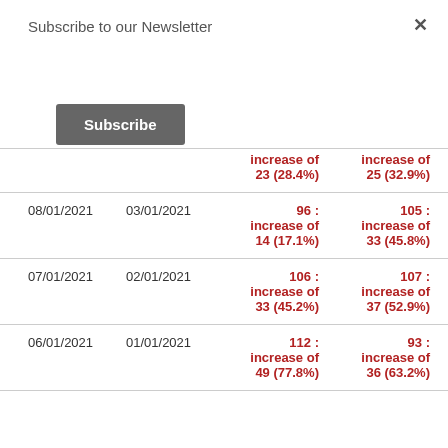Subscribe to our Newsletter
Subscribe
×
|  |  | Col3 | Col4 |
| --- | --- | --- | --- |
|  |  | increase of 23 (28.4%) | increase of 25 (32.9%) |
| 08/01/2021 | 03/01/2021 | 96 : increase of 14 (17.1%) | 105 : increase of 33 (45.8%) |
| 07/01/2021 | 02/01/2021 | 106 : increase of 33 (45.2%) | 107 : increase of 37 (52.9%) |
| 06/01/2021 | 01/01/2021 | 112 : increase of 49 (77.8%) | 93 : increase of 36 (63.2%) |